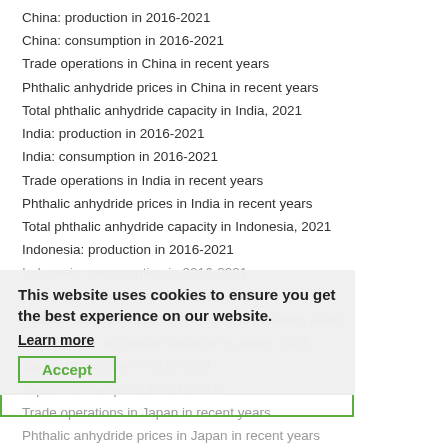China: production in 2016-2021
China: consumption in 2016-2021
Trade operations in China in recent years
Phthalic anhydride prices in China in recent years
Total phthalic anhydride capacity in India, 2021
India: production in 2016-2021
India: consumption in 2016-2021
Trade operations in India in recent years
Phthalic anhydride prices in India in recent years
Total phthalic anhydride capacity in Indonesia, 2021
Indonesia: production in 2016-2021
Indonesia: consumption in 2016-2021
Trade operations in Indonesia in recent years
Phthalic anhydride prices in Indonesia in recent years
Total phthalic anhydride capacity in Japan, 2021
Japan: production in 2016-2021
Japan: consumption in 2016-2021
Trade operations in Japan in recent years
Phthalic anhydride prices in Japan in recent years
Total phthalic anhydride capacity in Malaysia, 2021
Malaysia: production in 2016-2021
Malaysia: consumption in 2016-2021